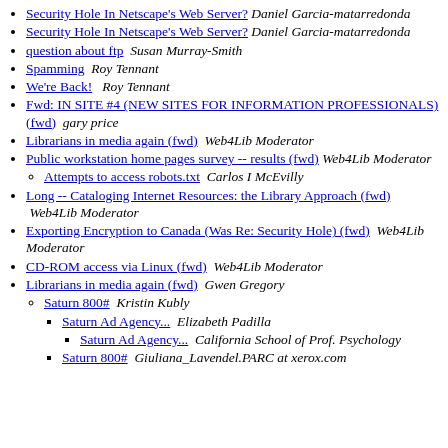Security Hole In Netscape's Web Server?  Daniel Garcia-matarredonda
Security Hole In Netscape's Web Server?  Daniel Garcia-matarredonda
question about ftp  Susan Murray-Smith
Spamming  Roy Tennant
We're Back!  Roy Tennant
Fwd: IN SITE #4 (NEW SITES FOR INFORMATION PROFESSIONALS) (fwd)  gary price
Librarians in media again (fwd)  Web4Lib Moderator
Public workstation home pages survey -- results (fwd)  Web4Lib Moderator
Attempts to access robots.txt  Carlos I McEvilly
Long -- Cataloging Internet Resources: the Library Approach (fwd)  Web4Lib Moderator
Exporting Encryption to Canada (Was Re: Security Hole) (fwd)  Web4Lib Moderator
CD-ROM access via Linux (fwd)  Web4Lib Moderator
Librarians in media again (fwd)  Gwen Gregory
Saturn 800#  Kristin Kubly
Saturn Ad Agency...  Elizabeth Padilla
Saturn Ad Agency...  California School of Prof. Psychology
Saturn 800#  Giuliana_Lavendel.PARC at xerox.com